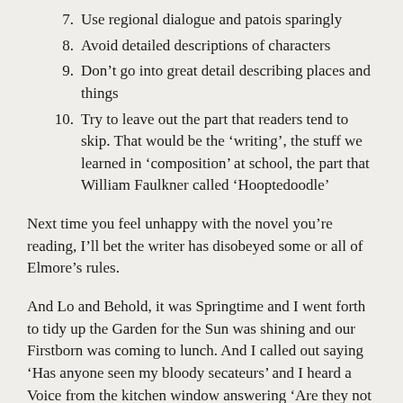7. Use regional dialogue and patois sparingly
8. Avoid detailed descriptions of characters
9. Don't go into great detail describing places and things
10. Try to leave out the part that readers tend to skip. That would be the 'writing', the stuff we learned in 'composition' at school, the part that William Faulkner called 'Hooptedoodle'
Next time you feel unhappy with the novel you're reading, I'll bet the writer has disobeyed some or all of Elmore's rules.
And Lo and Behold, it was Springtime and I went forth to tidy up the Garden for the Sun was shining and our Firstborn was coming to lunch. And I called out saying 'Has anyone seen my bloody secateurs' and I heard a Voice from the kitchen window answering 'Are they not where thou left them, under the Pear tree'. And I found